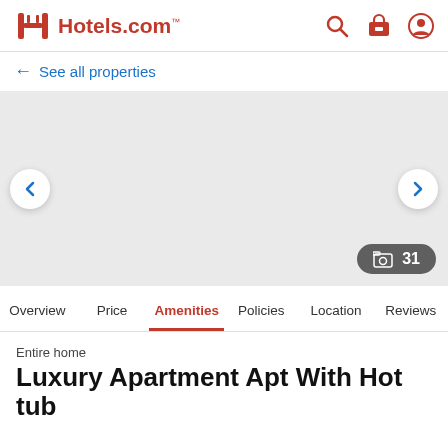Hotels.com
← See all properties
[Figure (photo): Hotel photo carousel area, light gray background with left and right navigation arrows and a photo count badge showing 31]
Overview  Price  Amenities  Policies  Location  Reviews
Entire home
Luxury Apartment Apt With Hot tub